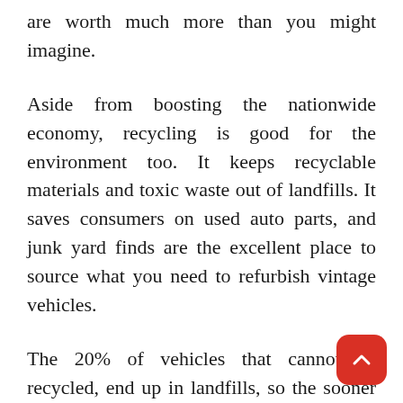are worth much more than you might imagine.
Aside from boosting the nationwide economy, recycling is good for the environment too. It keeps recyclable materials and toxic waste out of landfills. It saves consumers on used auto parts, and junk yard finds are the excellent place to source what you need to refurbish vintage vehicles.
The 20% of vehicles that cannot be recycled, end up in landfills, so the sooner you recycle your vehicle-the more used auto parts and materials can be salvaged.
You Have Nothing To